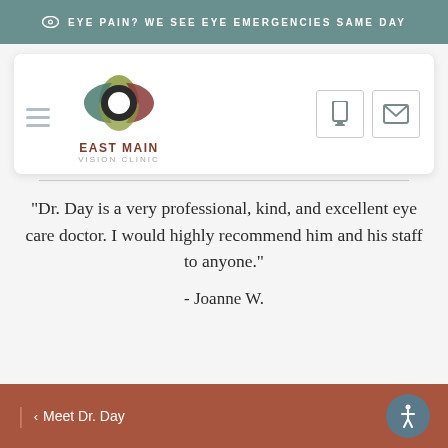👁 EYE PAIN? WE SEE EYE EMERGENCIES SAME DAY
[Figure (logo): East Main Vision Clinic logo — geometric eye shape with overlapping colored petals (olive, teal, dark red) around a dark circle with white center, with text 'EAST MAIN VISION CLINIC' below]
"Dr. Day is a very professional, kind, and excellent eye care doctor. I would highly recommend him and his staff to anyone."
- Joanne W.
| < Meet Dr. Day